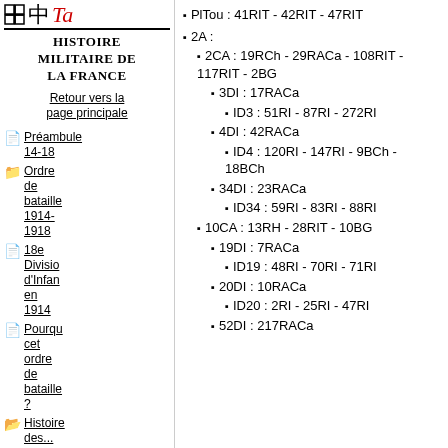Histoire militaire de la France
Retour vers la page principale
Préambule 14-18
Ordre de bataille 1914-1918
18e Division d'Infanterie en 1914
Pourquoi cet ordre de bataille ?
Histoire des...
PlTou : 41RIT - 42RIT - 47RIT
2A :
2CA : 19RCh - 29RACa - 108RIT - 117RIT - 2BG
3DI : 17RACa
ID3 : 51RI - 87RI - 272RI
4DI : 42RACa
ID4 : 120RI - 147RI - 9BCh - 18BCh
34DI : 23RACa
ID34 : 59RI - 83RI - 88RI
10CA : 13RH - 28RIT - 10BG
19DI : 7RACa
ID19 : 48RI - 70RI - 71RI
20DI : 10RACa
ID20 : 2RI - 25RI - 47RI
52DI : 217RACa